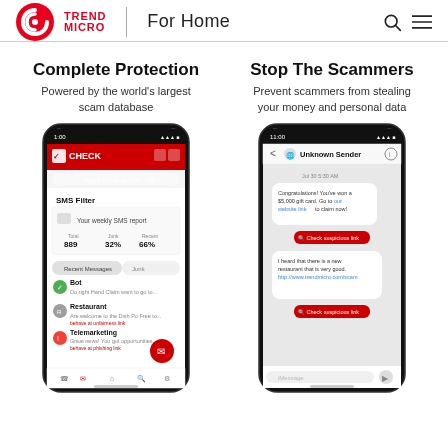TREND MICRO | For Home
Complete Protection
Powered by the world's largest scam database
[Figure (screenshot): Mobile phone screenshot showing Trend Micro Check app with SMS Filter feature, displaying weekly SMS report with 889 total, 32% junk, 66% recent, and message list with Bot, Restaurant, and Telemarketing entries]
Stop The Scammers
Prevent scammers from stealing your money and personal data
[Figure (screenshot): Mobile phone screenshot showing an Unknown Sender message conversation with scam messages about winning a $5000 gift card and a restaurant recommendation with suspicious links, both with red 'Check suspicious link' buttons]